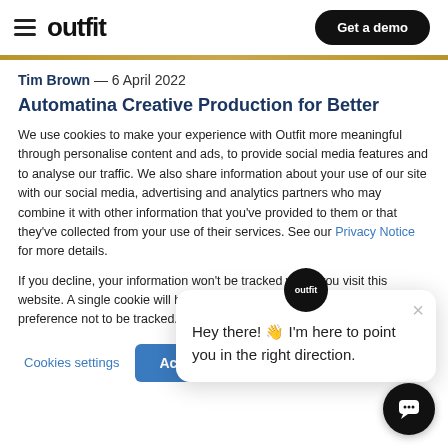outfit  Get a demo
Tim Brown — 6 April 2022
Automatina Creative Production for Better
We use cookies to make your experience with Outfit more meaningful through personalise content and ads, to provide social media features and to analyse our traffic. We also share information about your use of our site with our social media, advertising and analytics partners who may combine it with other information that you've provided to them or that they've collected from your use of their services. See our Privacy Notice for more details.
If you decline, your information won't be tracked when you visit this website. A single cookie will be used in your browser to remember your preference not to be tracked.
Cookies settings  Accept All  Decline All
[Figure (screenshot): Chat widget popup with outfit logo avatar, close button (×), and message: Hey there! 👋 I'm here to point you in the right direction.]
[Figure (other): Chat bubble button (circular dark button with chat icon) in bottom right corner]